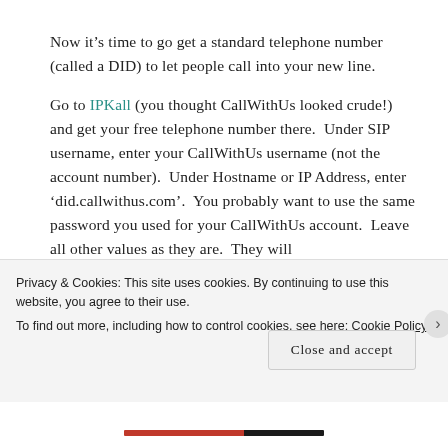Now it's time to go get a standard telephone number (called a DID) to let people call into your new line.

Go to IPKall (you thought CallWithUs looked crude!) and get your free telephone number there.  Under SIP username, enter your CallWithUs username (not the account number).  Under Hostname or IP Address, enter 'did.callwithus.com'.  You probably want to use the same password you used for your CallWithUs account.  Leave all other values as they are.  They will
Privacy & Cookies: This site uses cookies. By continuing to use this website, you agree to their use.
To find out more, including how to control cookies, see here: Cookie Policy
Close and accept